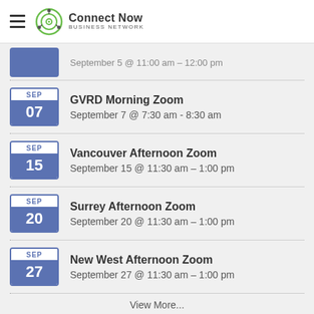Connect Now Business Network
September 5 @ 11:00 am - 12:00 pm
GVRD Morning Zoom — September 7 @ 7:30 am - 8:30 am
Vancouver Afternoon Zoom — September 15 @ 11:30 am - 1:00 pm
Surrey Afternoon Zoom — September 20 @ 11:30 am - 1:00 pm
New West Afternoon Zoom — September 27 @ 11:30 am - 1:00 pm
View More...